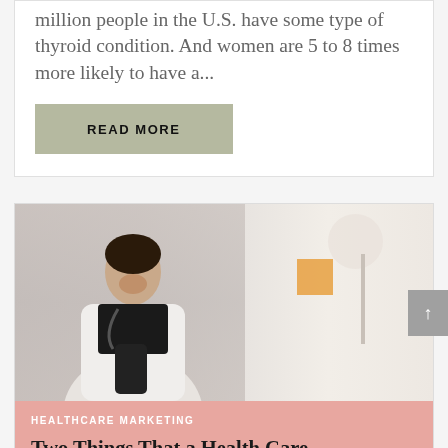million people in the U.S. have some type of thyroid condition. And women are 5 to 8 times more likely to have a...
READ MORE
[Figure (photo): Photo of a female healthcare professional in a white coat looking at a smartphone, seated at a desk with a lamp and sticky note in the background]
HEALTHCARE MARKETING
Two Things That a Health Care Provider's Social Media Objectives Should Help Them Do
Two Things That a Health